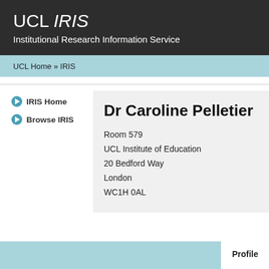UCL IRIS
Institutional Research Information Service
UCL Home » IRIS
IRIS Home
Browse IRIS
Dr Caroline Pelletier
Room 579
UCL Institute of Education
20 Bedford Way
London
WC1H 0AL
Profile